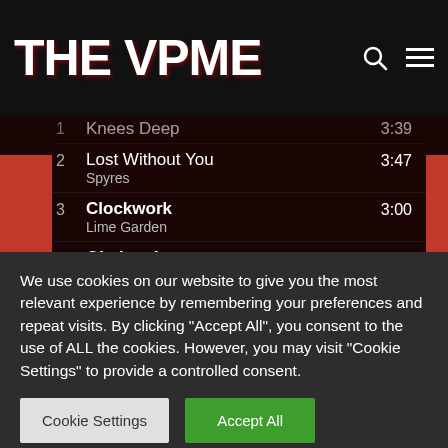THE VPME
1  Knees Deep  3:39
2  Lost Without You  Spyres  3:47
3  Clockwork  Lime Garden  3:00
4  Obviously  Bleach Lab  3:41
5  Under The Glass  Drahla  4:03
6  Bonnie  3:31
We use cookies on our website to give you the most relevant experience by remembering your preferences and repeat visits. By clicking "Accept All", you consent to the use of ALL the cookies. However, you may visit "Cookie Settings" to provide a controlled consent.